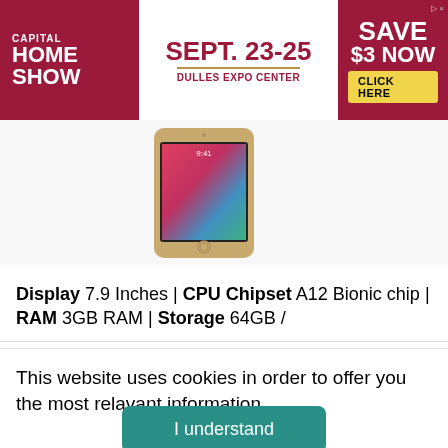[Figure (screenshot): Capital Home Show advertisement banner. Red background with white text: CAPITAL HOME SHOW on left. White center section with red text: SEPT. 23-25, DULLES EXPO CENTER. Right section with red background, white text: SAVE $3 NOW, yellow button: CLICK HERE.]
[Figure (photo): Apple iPad mini (gold color) displayed at an angle showing the screen with time 9:41 and a colorful abstract wallpaper.]
Display 7.9 Inches | CPU Chipset A12 Bionic chip | RAM 3GB RAM | Storage 64GB /
This website uses cookies in order to offer you the most relavant information.
I understand